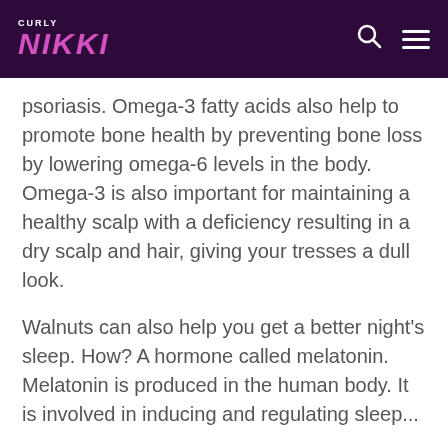CURLY NIKKI
psoriasis. Omega-3 fatty acids also help to promote bone health by preventing bone loss by lowering omega-6 levels in the body. Omega-3 is also important for maintaining a healthy scalp with a deficiency resulting in a dry scalp and hair, giving your tresses a dull look.
Walnuts can also help you get a better night's sleep. How? A hormone called melatonin. Melatonin is produced in the human body. It is involved in inducing and regulating sleep...